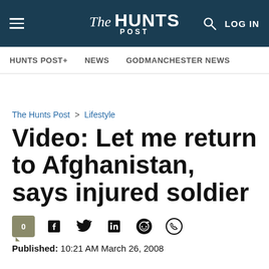The Hunts POST — LOG IN
HUNTS POST+  NEWS  GODMANCHESTER NEWS
The Hunts Post > Lifestyle
Video: Let me return to Afghanistan, says injured soldier
Published: 10:21 AM March 26, 2008